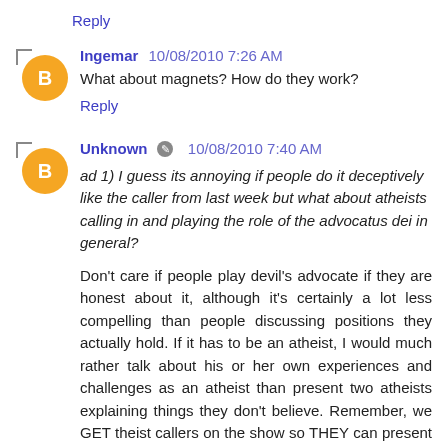Reply
Ingemar  10/08/2010 7:26 AM
What about magnets? How do they work?
Reply
Unknown  10/08/2010 7:40 AM
ad 1) I guess its annoying if people do it deceptively like the caller from last week but what about atheists calling in and playing the role of the advocatus dei in general?
Don't care if people play devil's advocate if they are honest about it, although it's certainly a lot less compelling than people discussing positions they actually hold. If it has to be an atheist, I would much rather talk about his or her own experiences and challenges as an atheist than present two atheists explaining things they don't believe. Remember, we GET theist callers on the show so THEY can present what THEY believe. There really isn't a need for more